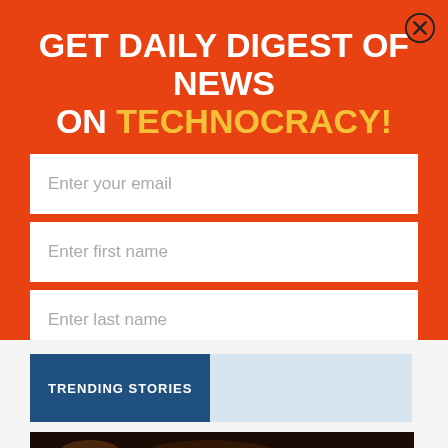GET DAILY DIGEST OF NEWS ON TECHNOCRACY!
Enter your email
Enter first name
Enter last name
SUBSCRIBE
TRENDING STORIES
[Figure (photo): Microscopy image showing colorful cellular or microbial structures on dark background]